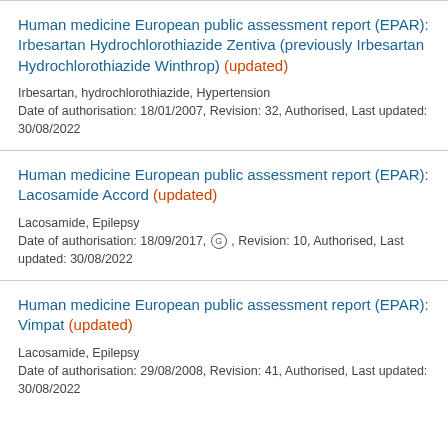Human medicine European public assessment report (EPAR): Irbesartan Hydrochlorothiazide Zentiva (previously Irbesartan Hydrochlorothiazide Winthrop) (updated)
Irbesartan, hydrochlorothiazide, Hypertension
Date of authorisation: 18/01/2007, Revision: 32, Authorised, Last updated: 30/08/2022
Human medicine European public assessment report (EPAR): Lacosamide Accord (updated)
Lacosamide, Epilepsy
Date of authorisation: 18/09/2017, G , Revision: 10, Authorised, Last updated: 30/08/2022
Human medicine European public assessment report (EPAR): Vimpat (updated)
Lacosamide, Epilepsy
Date of authorisation: 29/08/2008, Revision: 41, Authorised, Last updated: 30/08/2022